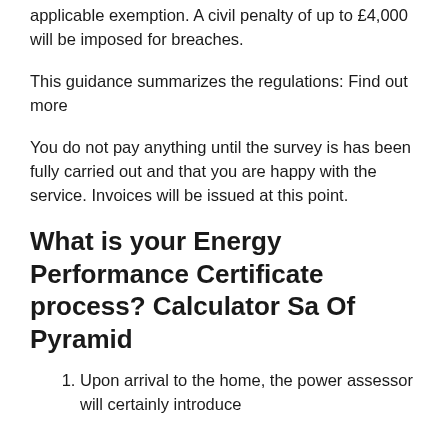applicable exemption. A civil penalty of up to £4,000 will be imposed for breaches.
This guidance summarizes the regulations: Find out more
You do not pay anything until the survey is has been fully carried out and that you are happy with the service. Invoices will be issued at this point.
What is your Energy Performance Certificate process? Calculator Sa Of Pyramid
Upon arrival to the home, the power assessor will certainly introduce